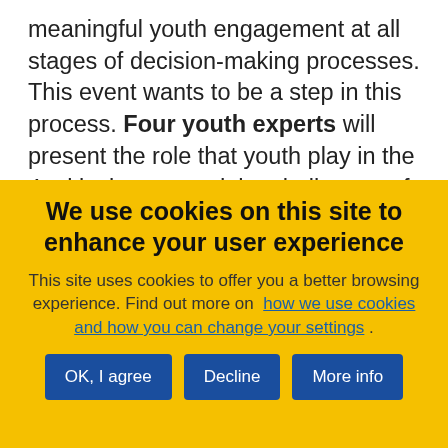meaningful youth engagement at all stages of decision-making processes. This event wants to be a step in this process. Four youth experts will present the role that youth play in the 4 critical areas and the challenges of their participation. They will also introduce 4 main questions to address to the decision-makers, which will have 10 min to respond.
Felix Giroux, board member at Youth4Nature,
We use cookies on this site to enhance your user experience
This site uses cookies to offer you a better browsing experience. Find out more on how we use cookies and how you can change your settings .